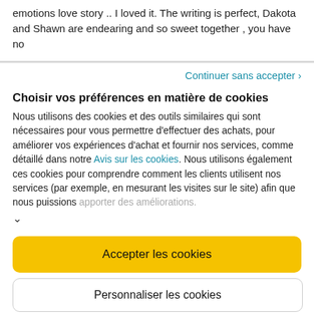emotions love story .. I loved it. The writing is perfect, Dakota and Shawn are endearing and so sweet together , you have no
Continuer sans accepter ›
Choisir vos préférences en matière de cookies
Nous utilisons des cookies et des outils similaires qui sont nécessaires pour vous permettre d'effectuer des achats, pour améliorer vos expériences d'achat et fournir nos services, comme détaillé dans notre Avis sur les cookies. Nous utilisons également ces cookies pour comprendre comment les clients utilisent nos services (par exemple, en mesurant les visites sur le site) afin que nous puissions apporter des améliorations.
∨
Accepter les cookies
Personnaliser les cookies